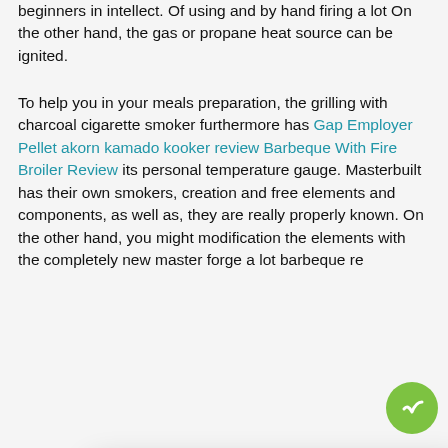beginners in intellect. Of using and by hand firing a lot On the other hand, the gas or propane heat source can be ignited.
To help you in your meals preparation, the grilling with charcoal cigarette smoker furthermore has Gap Employer Pellet akorn kamado kooker review Barbeque With Fire Broiler Review its personal temperature gauge. Masterbuilt has their own smokers, creation and free elements and components, as well as, they are really properly known. On the other hand, you might modification the elements with the completely new master forge a lot barbeque re[mains obscured by modal]
[Figure (other): Cookie consent modal dialog with title 'Control your privacy', AdOpt link, message about cookies improving navigation, Privacy Policy and My options links, DO NOT SELL and ACCEPT buttons.]
the smoking efficianado pieces are in one piece and welded effectively, it functions heavy duty grates with chromium complete, and has natural powder and heat-treated color to make sure that thoroughly clean and smooth appear. The smoker is large enough for your cooking or smoking necessities and at the